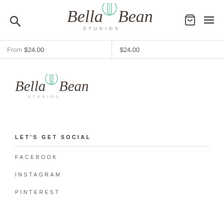Bella Bean Studios — navigation header with search, logo, cart, and menu icons
From $24.00
$24.00
[Figure (logo): Bella Bean Studios logo — cursive script text 'Bella Bean' with mint green leaf/bean icon, 'STUDIOS' in spaced small caps below]
LET'S GET SOCIAL
FACEBOOK
INSTAGRAM
PINTEREST